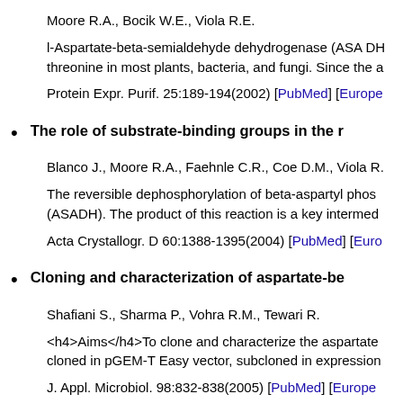Moore R.A., Bocik W.E., Viola R.E.
l-Aspartate-beta-semialdehyde dehydrogenase (ASA DH) ... threonine in most plants, bacteria, and fungi. Since the a...
Protein Expr. Purif. 25:189-194(2002) [PubMed] [Europe...
The role of substrate-binding groups in the r...
Blanco J., Moore R.A., Faehnle C.R., Coe D.M., Viola R...
The reversible dephosphorylation of beta-aspartyl phos... (ASADH). The product of this reaction is a key intermed...
Acta Crystallogr. D 60:1388-1395(2004) [PubMed] [Euro...
Cloning and characterization of aspartate-be...
Shafiani S., Sharma P., Vohra R.M., Tewari R.
<h4>Aims</h4>To clone and characterize the aspartate... cloned in pGEM-T Easy vector, subcloned in expression...
J. Appl. Microbiol. 98:832-838(2005) [PubMed] [Europe...